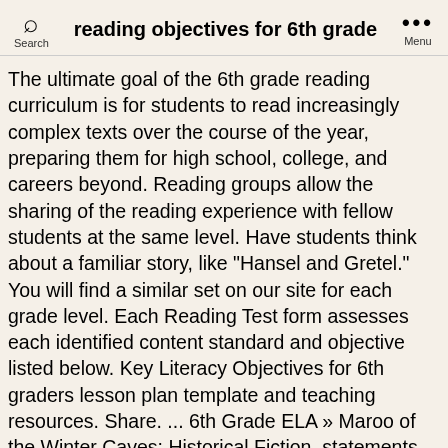reading objectives for 6th grade
The ultimate goal of the 6th grade reading curriculum is for students to read increasingly complex texts over the course of the year, preparing them for high school, college, and careers beyond. Reading groups allow the sharing of the reading experience with fellow students at the same level. Have students think about a familiar story, like "Hansel and Gretel." You will find a similar set on our site for each grade level. Each Reading Test form assesses each identified content standard and objective listed below. Key Literacy Objectives for 6th graders lesson plan template and teaching resources. Share. ... 6th Grade ELA » Maroo of the Winter Caves: Historical Fiction. statements that can be easily posted for your lessons. We have gathered all of our Common Core resources for 6th grade. Scroll down and find the grade level. Elephant Seals FREE . Pronoun: A word ... reading. The world's largest seals make their home in â¦ When it comes to reading 6th grade students are asked to think